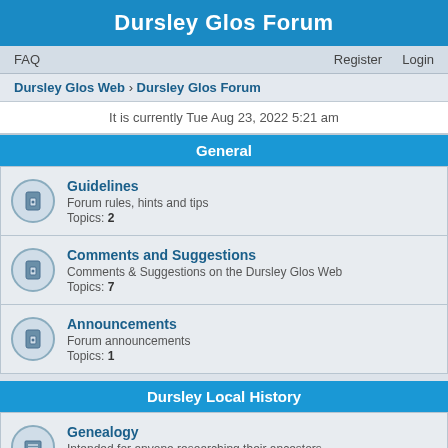Dursley Glos Forum
FAQ   Register   Login
Dursley Glos Web › Dursley Glos Forum
It is currently Tue Aug 23, 2022 5:21 am
General
Guidelines
Forum rules, hints and tips
Topics: 2
Comments and Suggestions
Comments & Suggestions on the Dursley Glos Web
Topics: 7
Announcements
Forum announcements
Topics: 1
Dursley Local History
Genealogy
Intended for anyone researching their ancestors.
Topics: 63
Old photographs of the Dursley area
Have a photo of old Dursley to share? Post here to see if anyone can add